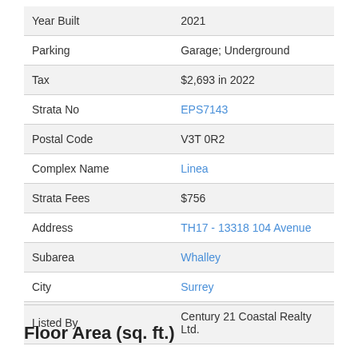| Field | Value |
| --- | --- |
| Year Built | 2021 |
| Parking | Garage; Underground |
| Tax | $2,693 in 2022 |
| Strata No | EPS7143 |
| Postal Code | V3T 0R2 |
| Complex Name | Linea |
| Strata Fees | $756 |
| Address | TH17 - 13318 104 Avenue |
| Subarea | Whalley |
| City | Surrey |
| Listed By | Century 21 Coastal Realty Ltd. |
Floor Area (sq. ft.)